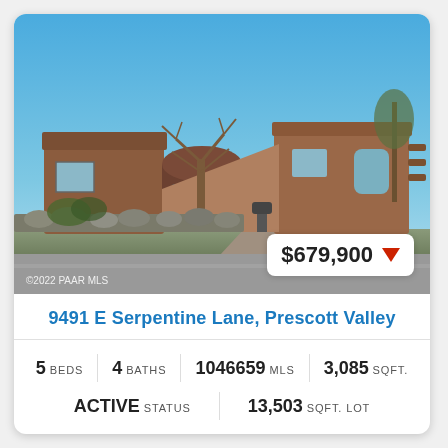[Figure (photo): Exterior photo of a southwestern-style multi-level brick/stucco home with a bare tree in front, stone landscaping, garage, and blue sky. Price badge showing $679,900 with a red down arrow in the lower right. Copyright notice '©2022 PAAR MLS' in lower left.]
9491 E Serpentine Lane, Prescott Valley
5 BEDS  4 BATHS  1046659 MLS  3,085 SQFT.
ACTIVE STATUS  13,503 SQFT. LOT